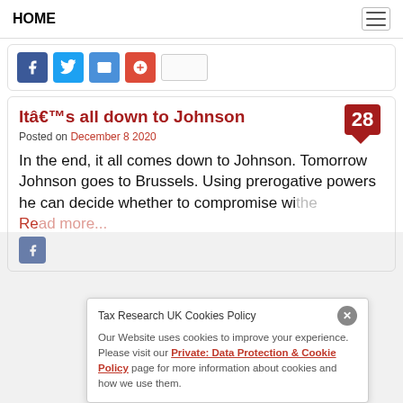HOME
[Figure (screenshot): Social share buttons: Facebook, Twitter, Email, Google+, and a share count box]
Itâ€™s all down to Johnson
Posted on December 8 2020
In the end, it all comes down to Johnson. Tomorrow Johnson goes to Brussels. Using prerogative powers he can decide whether to compromise wi...
Tax Research UK Cookies Policy
Our Website uses cookies to improve your experience. Please visit our Private: Data Protection & Cookie Policy page for more information about cookies and how we use them.